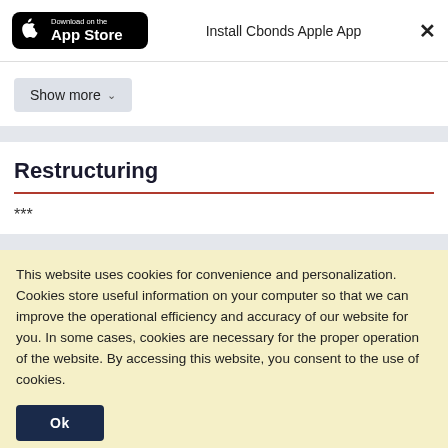[Figure (logo): App Store download badge (black rounded rectangle with Apple logo and 'Download on the App Store' text)]
Install Cbonds Apple App
×
Show more
Restructuring
***
This website uses cookies for convenience and personalization. Cookies store useful information on your computer so that we can improve the operational efficiency and accuracy of our website for you. In some cases, cookies are necessary for the proper operation of the website. By accessing this website, you consent to the use of cookies.
Ok